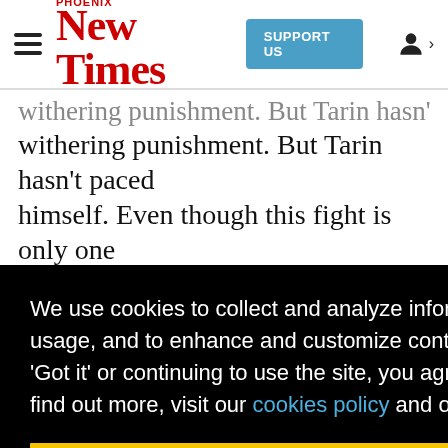Phoenix New Times — SUPPORT US
withering punishment. But Tarin hasn't paced himself. Even though this fight is only one ...e's ...out. ...ce, he ...ties ...pro-- ...n on ... ...lls, as ...cide what to do next. Tarin's aggression is rekindled
We use cookies to collect and analyze information on site performance and usage, and to enhance and customize content and advertisements. By clicking 'Got it' or continuing to use the site, you agree to allow cookies to be placed. To find out more, visit our cookies policy and our privacy policy.
Got it!